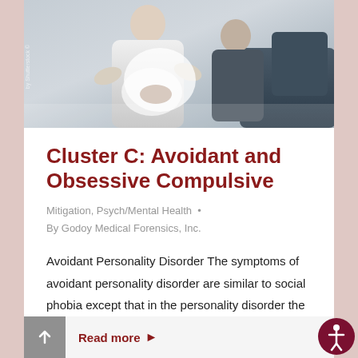[Figure (photo): Photo of two people in a clinical or consultation setting, showing medical/therapeutic interaction. Black and white toned image.]
Cluster C: Avoidant and Obsessive Compulsive
Mitigation, Psych/Mental Health  •
By Godoy Medical Forensics, Inc.
Avoidant Personality Disorder The symptoms of avoidant personality disorder are similar to social phobia except that in the personality disorder the avoidance is present in all social situations. Social phobia symptoms are usually more specific...
Read more ▶